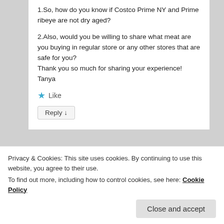1.So, how do you know if Costco Prime NY and Prime ribeye are not dry aged?
2.Also, would you be willing to share what meat are you buying in regular store or any other stores that are safe for you?
Thank you so much for sharing your experience!
Tanya
★ Like
Reply ↓
Privacy & Cookies: This site uses cookies. By continuing to use this website, you agree to their use.
To find out more, including how to control cookies, see here: Cookie Policy
Close and accept
the price is much higher than dor wet aged